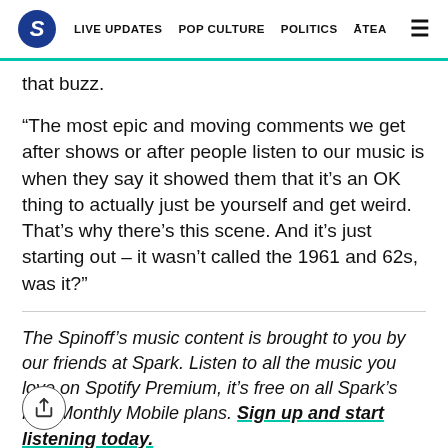S | LIVE UPDATES | POP CULTURE | POLITICS | ĀTEA
that buzz.
“The most epic and moving comments we get after shows or after people listen to our music is when they say it showed them that it’s an OK thing to actually just be yourself and get weird. That’s why there’s this scene. And it’s just starting out – it wasn’t called the 1961 and 62s, was it?”
The Spinoff’s music content is brought to you by our friends at Spark. Listen to all the music you love on Spotify Premium, it’s free on all Spark’s Pay Monthly Mobile plans. Sign up and start listening today.